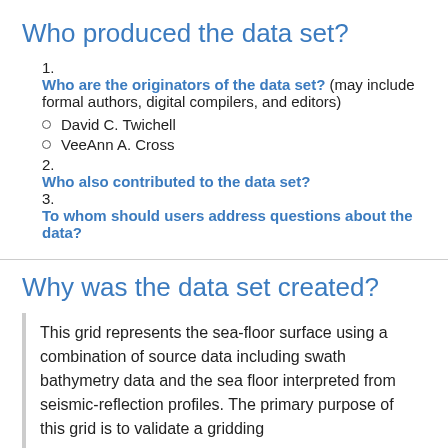Who produced the data set?
1. Who are the originators of the data set? (may include formal authors, digital compilers, and editors)
  - David C. Twichell
  - VeeAnn A. Cross
2. Who also contributed to the data set?
3. To whom should users address questions about the data?
Why was the data set created?
This grid represents the sea-floor surface using a combination of source data including swath bathymetry data and the sea floor interpreted from seismic-reflection profiles. The primary purpose of this grid is to validate a gridding